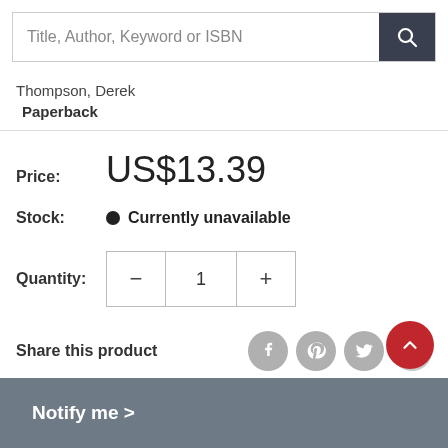Title, Author, Keyword or ISBN
Thompson, Derek
Paperback
Price: US$13.39
Stock: Currently unavailable
Quantity: 1
Share this product
Notify me >